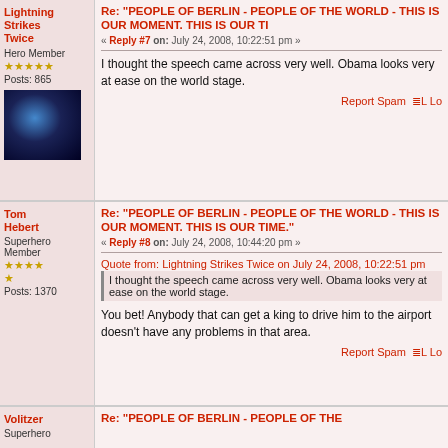Lightning Strikes Twice
Hero Member
Posts: 865
Re: "PEOPLE OF BERLIN - PEOPLE OF THE WORLD - THIS IS OUR MOMENT. THIS IS OUR TI
« Reply #7 on: July 24, 2008, 10:22:51 pm »
I thought the speech came across very well. Obama looks very at ease on the world stage.
Report Spam  Lo
Tom Hebert
Superhero Member
Posts: 1370
Re: "PEOPLE OF BERLIN - PEOPLE OF THE WORLD - THIS IS OUR MOMENT. THIS IS OUR TIME."
« Reply #8 on: July 24, 2008, 10:44:20 pm »
Quote from: Lightning Strikes Twice on July 24, 2008, 10:22:51 pm
I thought the speech came across very well. Obama looks very at ease on the world stage.
You bet!  Anybody that can get a king to drive him to the airport doesn't have any problems in that area.
Report Spam  Lo
Volitzer
Superhero
Re: "PEOPLE OF BERLIN - PEOPLE OF THE